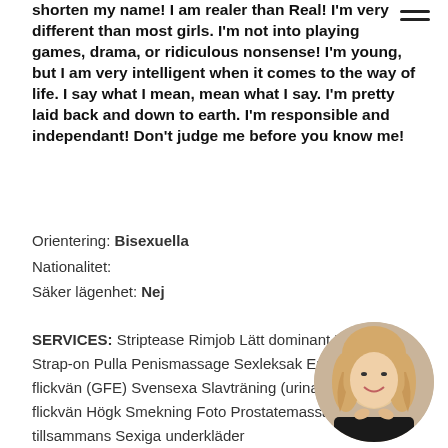shorten my name! I am realer than Real! I'm very different than most girls. I'm not into playing games, drama, or ridiculous nonsense! I'm young, but I am very intelligent when it comes to the way of life. I say what I mean, mean what I say. I'm pretty laid back and down to earth. I'm responsible and independant! Don't judge me before you know me!
Orientering: Bisexuella
Nationalitet:
Säker lägenhet: Nej
SERVICES: Striptease Rimjob Lätt dominant Uniforms Strap-on Pulla Penismassage Sexleksaker Erfarenhet av flickvän (GFE) Svensexa Slavträning (urination) Har flickvän Högklackat Smekning Foto Prostatemassage Fista Dusch tillsammans Sexiga underkläder
[Figure (photo): Circular profile photo of a blonde woman smiling]